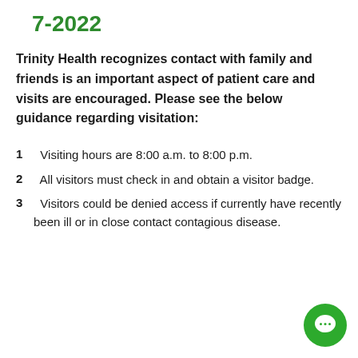7-2022
Trinity Health recognizes contact with family and friends is an important aspect of patient care and visits are encouraged. Please see the below guidance regarding visitation:
Visiting hours are 8:00 a.m. to 8:00 p.m.
All visitors must check in and obtain a visitor badge.
Visitors could be denied access if currently have recently been ill or in close contact contagious disease.